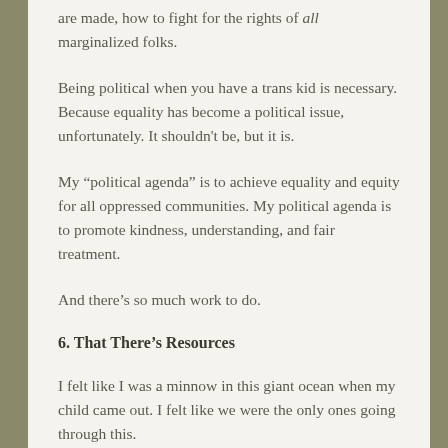are made, how to fight for the rights of all marginalized folks.
Being political when you have a trans kid is necessary. Because equality has become a political issue, unfortunately. It shouldn't be, but it is.
My “political agenda” is to achieve equality and equity for all oppressed communities. My political agenda is to promote kindness, understanding, and fair treatment.
And there’s so much work to do.
6. That There’s Resources
I felt like I was a minnow in this giant ocean when my child came out. I felt like we were the only ones going through this.
We needed emotional support, but we also needed